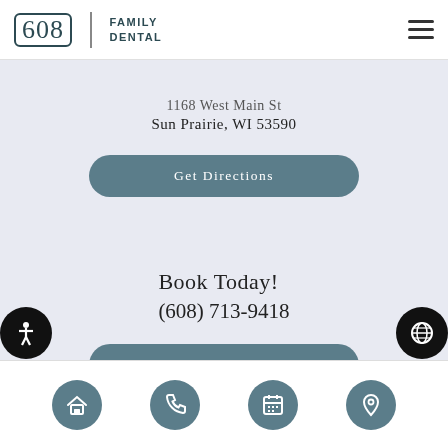608 Family Dental
1168 West Main St Sun Prairie, WI 53590
Get Directions
Book Today! (608) 713-9418
Request Appointment
Navigation bar with home, phone, calendar, and location icons